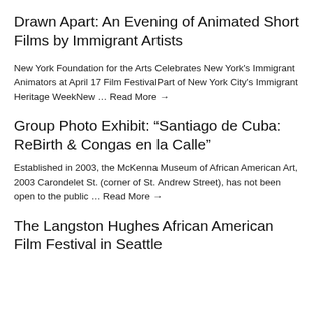Drawn Apart: An Evening of Animated Short Films by Immigrant Artists
New York Foundation for the Arts Celebrates New York's Immigrant Animators at April 17 Film FestivalPart of New York City's Immigrant Heritage WeekNew … Read More →
Group Photo Exhibit: “Santiago de Cuba: ReBirth & Congas en la Calle”
Established in 2003, the McKenna Museum of African American Art, 2003 Carondelet St. (corner of St. Andrew Street), has not been open to the public … Read More →
The Langston Hughes African American Film Festival in Seattle